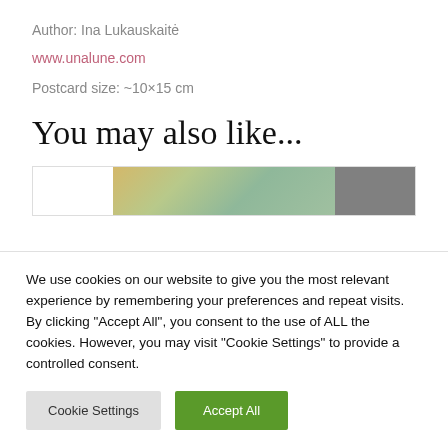Author: Ina Lukauskaitė
www.unalune.com
Postcard size: ~10×15 cm
You may also like...
[Figure (photo): Partial image strip showing a colorful textured surface (orange, green, teal tones) with a dark gray section on the right]
We use cookies on our website to give you the most relevant experience by remembering your preferences and repeat visits. By clicking "Accept All", you consent to the use of ALL the cookies. However, you may visit "Cookie Settings" to provide a controlled consent.
Cookie Settings
Accept All